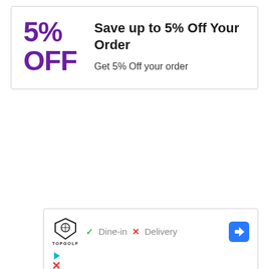5% OFF
Save up to 5% Off Your Order
Get 5% Off your order
[Figure (logo): Topgolf logo with shield graphic and TOPGOLF text underneath, followed by a green checkmark with Dine-in text, a red X with Delivery text, and a blue diamond navigation arrow icon]